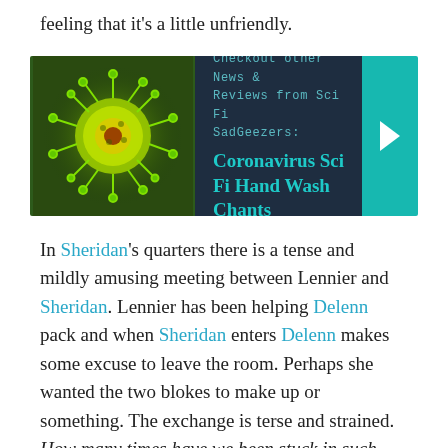feeling that it’s a little unfriendly.
[Figure (infographic): Promotional banner with a green coronavirus particle image on the left, dark navy background text area in the middle reading 'Checkout other News & Reviews from Sci Fi SadGeezers: Coronavirus Sci Fi Hand Wash Chants', and a teal arrow button on the right.]
In Sheridan’s quarters there is a tense and mildly amusing meeting between Lennier and Sheridan. Lennier has been helping Delenn pack and when Sheridan enters Delenn makes some excuse to leave the room. Perhaps she wanted the two blokes to make up or something. The exchange is terse and strained. How many times have we been stuck in such situations? Yer partners good friend is a complete and utter dork but you have to be polite and pretend that you don’t, after all, think that they have a head shaped like a